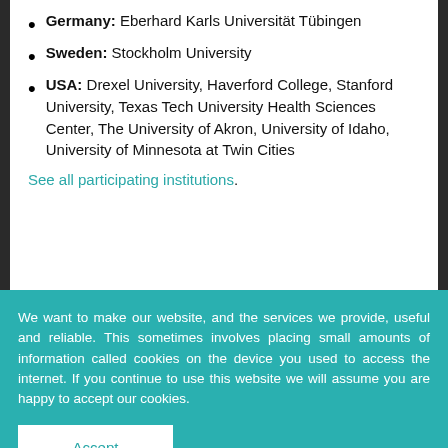Germany: Eberhard Karls Universität Tübingen
Sweden: Stockholm University
USA: Drexel University, Haverford College, Stanford University, Texas Tech University Health Sciences Center, The University of Akron, University of Idaho, University of Minnesota at Twin Cities
See all participating institutions.
We want to make our website, and the services we provide, useful and reliable. This sometimes involves placing small amounts of information called cookies on the device you used to access the internet. If you continue to use this website we will assume you are happy to accept our cookies.
Accept